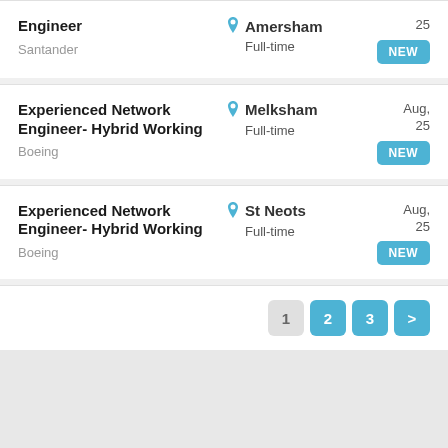Engineer – Santander – Amersham – Full-time – 25 – NEW
Experienced Network Engineer- Hybrid Working – Boeing – Melksham – Full-time – Aug, 25 – NEW
Experienced Network Engineer- Hybrid Working – Boeing – St Neots – Full-time – Aug, 25 – NEW